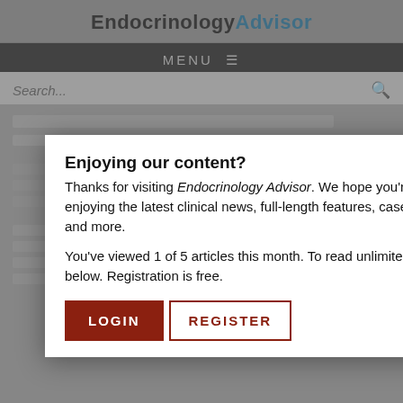EndocrinologyAdvisor
MENU ≡
Search...
Enjoying our content?
Thanks for visiting Endocrinology Advisor. We hope you're enjoying the latest clinical news, full-length features, case studies, and more.
You've viewed 1 of 5 articles this month. To read unlimited content, please register or log in below. Registration is free.
LOGIN
REGISTER
NEXT POST IN TYPE 2 DIABETES
Veterans With Diabetes Benefit From Intervention